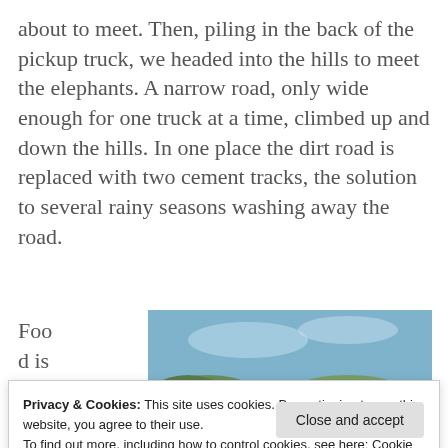about to meet. Then, piling in the back of the pickup truck, we headed into the hills to meet the elephants. A narrow road, only wide enough for one truck at a time, climbed up and down the hills. In one place the dirt road is replaced with two cement tracks, the solution to several rainy seasons washing away the road.
Food is alwa ys
[Figure (photo): Close-up photograph of two elephants with blue sky and green hills in the background; a person's head is partially visible between the elephants.]
Privacy & Cookies: This site uses cookies. By continuing to use this website, you agree to their use.
To find out more, including how to control cookies, see here: Cookie Policy